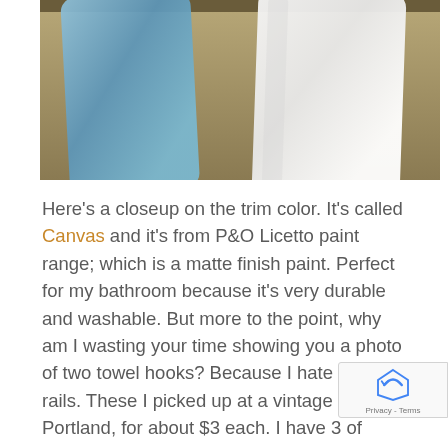[Figure (photo): Photo of two towels hanging on hooks against a wall painted in Canvas trim color. A blue towel hangs on the left and a white towel hangs on the right.]
Here's a closeup on the trim color.  It's called Canvas and it's from P&O Licetto paint range; which is a matte finish paint. Perfect for my bathroom because it's very durable and washable.  But more to the point, why am I wasting your time showing you a photo of two towel hooks? Because I hate towel rails. These I picked up at a vintage store in Portland, for about $3 each.  I have 3 of them against the wall.  I love my husband, I love my children; but I have yet to see any of them successfully put a towel over a towel rail.  A towel hook? I stand a better chance.  It's all about choosing your battles, and making the work to your favor.